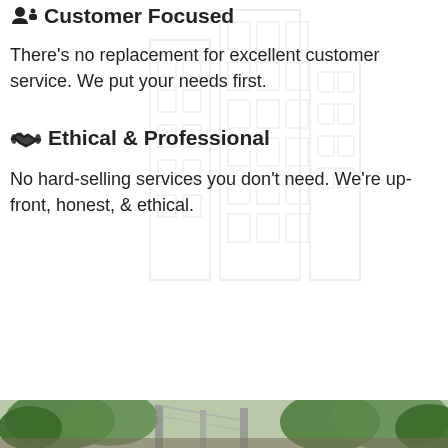🤳 Customer Focused
There's no replacement for excellent customer service. We put your needs first.
🤝 Ethical & Professional
No hard-selling services you don't need. We're up-front, honest, & ethical.
[Figure (photo): Outdoor photo strip showing trees and what appears to be a building or greenhouse structure with green foliage]